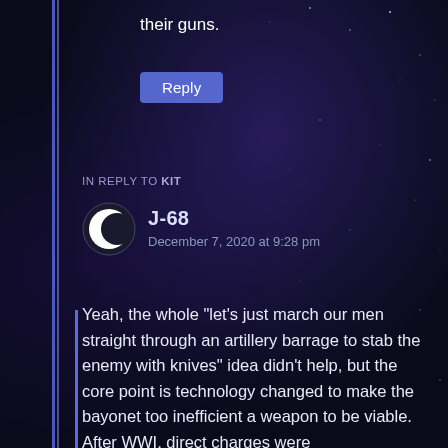their guns.
Reply
IN REPLY TO KIT
J-68
December 7, 2020 at 9:28 pm
Yeah, the whole “let’s just march our men straight through an artillery barrage to stab the enemy with knives” idea didn’t help, but the core point is technology changed to make the bayonet too inefficient a weapon to be viable. After WWI, direct charges were